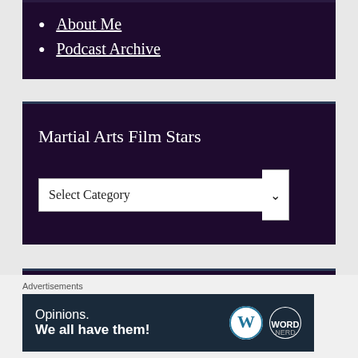About Me
Podcast Archive
Martial Arts Film Stars
Select Category
Review Grade Legend
Advertisements
Opinions. We all have them!